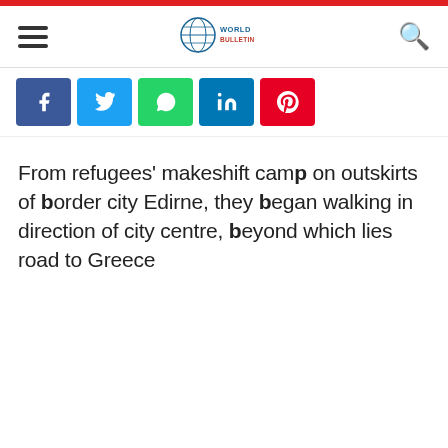World Bulletin
[Figure (logo): World Bulletin globe logo with 'WORLD BULLETIN' text]
Social share buttons: Facebook, Twitter, WhatsApp, LinkedIn, Pinterest
From refugees' makeshift camp on outskirts of border city Edirne, they began walking in direction of city centre, beyond which lies road to Greece